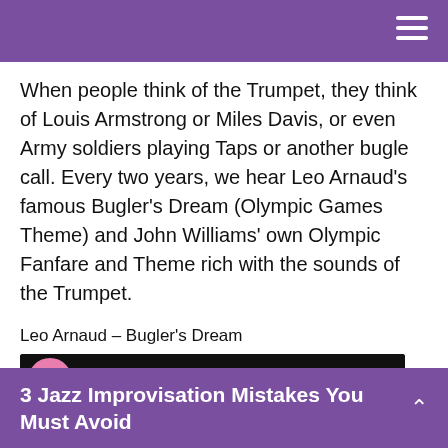When people think of the Trumpet, they think of Louis Armstrong or Miles Davis, or even Army soldiers playing Taps or another bugle call. Every two years, we hear Leo Arnaud's famous Bugler's Dream (Olympic Games Theme) and John Williams' own Olympic Fanfare and Theme rich with the sounds of the Trumpet.
Leo Arnaud – Bugler's Dream
[Figure (screenshot): YouTube video thumbnail for Leo Arnaud - Bugler's Drea... showing the Olympic rings logo on a light background, with a channel icon and video title in a dark top bar.]
3 Jazz Improvisation Mistakes You Must Avoid